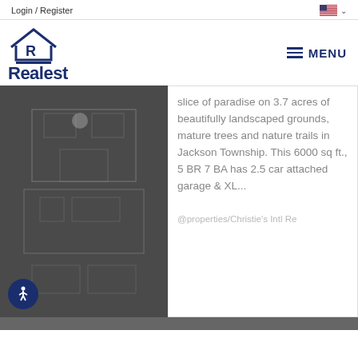Login / Register
[Figure (logo): Realest real estate logo with house/R icon and bold Realest text in navy blue]
MENU
slice of paradise on 3.7 acres of beautifully landscaped grounds, mature trees and nature trails in Jackson Township. This 6000 sq ft., 5 BR 7 BA has 2.5 car attached garage & XL...
@properties/Christie's Intl Re
[Figure (photo): Dark aerial/blueprint-style overhead view of a house property in dark gray tones]